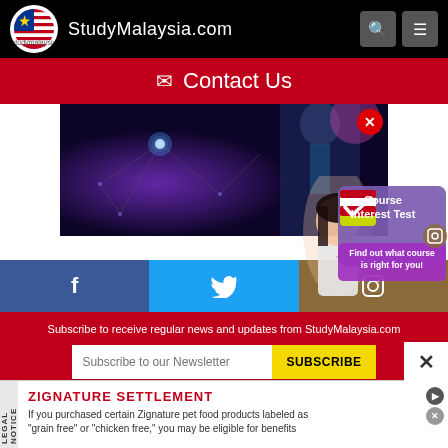StudyMalaysia.com
✉ Contact Us
[Figure (photo): Dark purple network background banner with a person in a suit and glowing blue dot]
[Figure (infographic): Course Interest Test popup with Malaysian flag checkmark logo and text 'Find out what course is right for you!']
[Figure (infographic): Social media bar with Facebook, Twitter, and Instagram icons]
Subscribe to receive regular news and updates from StudyMalaysia.com
Subscribe to our Newsletter
SUBSCRIBE
Copyright © 1998-2022 Webway E Services Sdn Bhd.
LEGAL NOTICE
ZIGNATURE SETTLEMENT
If you purchased certain Zignature pet food products labeled as "grain free" or "chicken free," you may be eligible for benefits